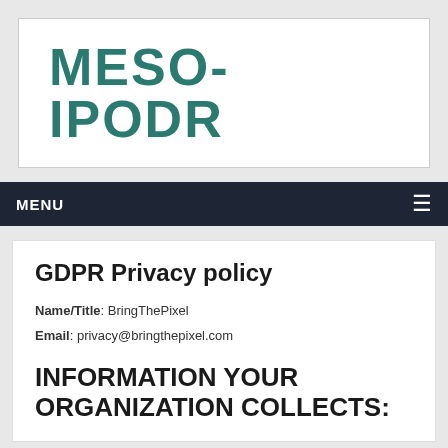[Figure (logo): MESO-IPODR logo text in teal/dark green on white background]
MENU ≡
GDPR Privacy policy
Name/Title: BringThePixel
Email: privacy@bringthepixel.com
INFORMATION YOUR ORGANIZATION COLLECTS: